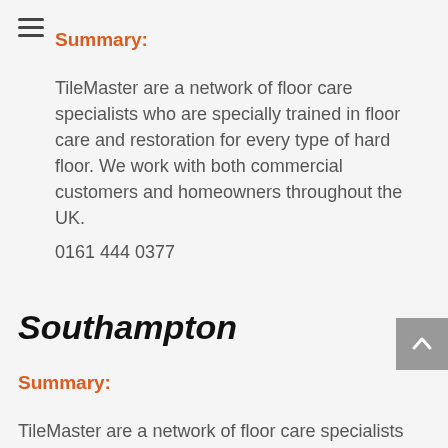Summary:
TileMaster are a network of floor care specialists who are specially trained in floor care and restoration for every type of hard floor. We work with both commercial customers and homeowners throughout the UK.
0161 444 0377
Southampton
Summary:
TileMaster are a network of floor care specialists who are specially trained in floor care and restoration for every type of hard floor. We work with both commercial customers and